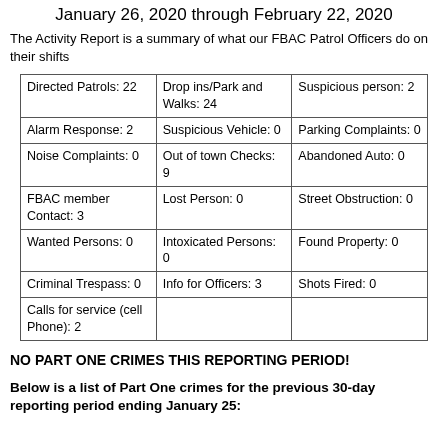January 26, 2020 through February 22, 2020
The Activity Report is a summary of what our FBAC Patrol Officers do on their shifts
| Directed Patrols: 22 | Drop ins/Park and Walks: 24 | Suspicious person: 2 |
| Alarm Response: 2 | Suspicious Vehicle: 0 | Parking Complaints: 0 |
| Noise Complaints: 0 | Out of town Checks: 9 | Abandoned Auto: 0 |
| FBAC member Contact: 3 | Lost Person: 0 | Street Obstruction: 0 |
| Wanted Persons: 0 | Intoxicated Persons: 0 | Found Property: 0 |
| Criminal Trespass: 0 | Info for Officers: 3 | Shots Fired: 0 |
| Calls for service (cell Phone): 2 |  |  |
NO PART ONE CRIMES THIS REPORTING PERIOD!
Below is a list of Part One crimes for the previous 30-day reporting period ending January 25: